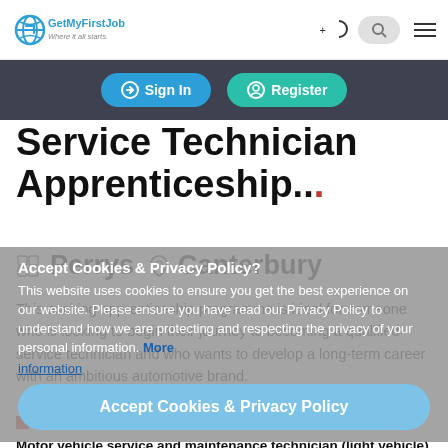GetMyFirstJob — Where it all starts.
Sign In  Register
Service Technician Apprenticeship..
Perrys  Canterbury
This exciting apprenticeship programme is ideal for someone who is looking to begin their journey to becoming a qualified service technician and who wants to develop a long-term career with an ambitious automotive brand.
Accept Cookies & Privacy Policy? This website uses cookies to ensure you get the best experience on our website. Please ensure you have read our Privacy Policy to understand how we are protecting and respecting the privacy of your personal information. More information
Accept Cookies & Privacy Policy
Advanced  Motor vehicle service and maintenance technician (light vehicle) Level 3 (A level)